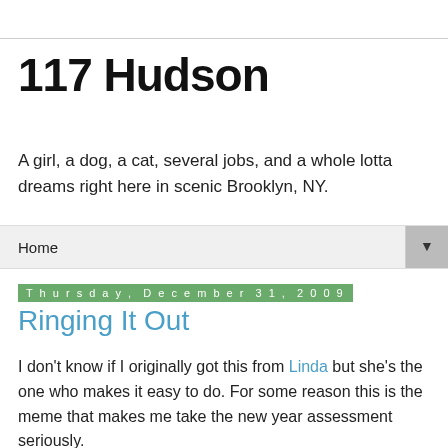117 Hudson
A girl, a dog, a cat, several jobs, and a whole lotta dreams right here in scenic Brooklyn, NY.
Home
Thursday, December 31, 2009
Ringing It Out
I don't know if I originally got this from Linda but she's the one who makes it easy to do. For some reason this is the meme that makes me take the new year assessment seriously.
1. What did you do in 2008 that you'd never done before?
Traveled further west in the US than I ever had before...